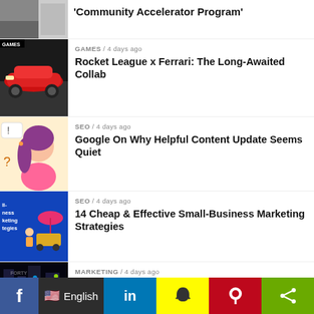[Figure (photo): Partial thumbnail of building/street scene (top cut off)]
'Community Accelerator Program'
[Figure (photo): Red Ferrari sports car (Rocket League x Ferrari article thumbnail)]
GAMES / 4 days ago
Rocket League x Ferrari: The Long-Awaited Collab
[Figure (illustration): Illustrated woman with question marks (SEO article thumbnail)]
SEO / 4 days ago
Google On Why Helpful Content Update Seems Quiet
[Figure (photo): Blue background marketing strategies thumbnail]
SEO / 4 days ago
14 Cheap & Effective Small-Business Marketing Strategies
[Figure (photo): Holiday shopping lights street scene thumbnail]
MARKETING / 4 days ago
What will have the biggest impact on consumer holiday shopping?